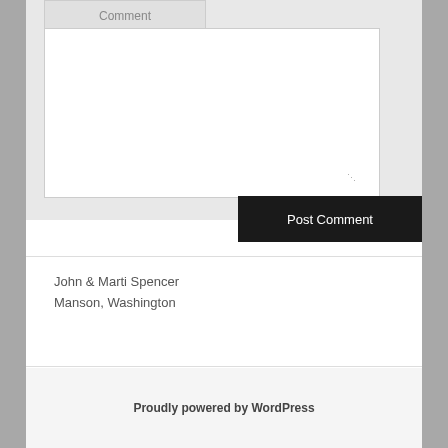[Figure (screenshot): Comment form textarea with label 'Comment' tab at top and a large white input area with resize handle at bottom right]
Post Comment
John & Marti Spencer
Manson, Washington
Proudly powered by WordPress